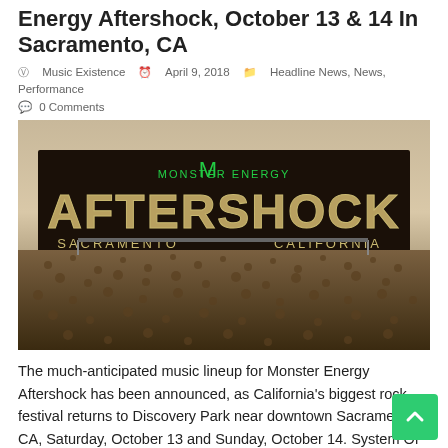Energy Aftershock, October 13 & 14 In Sacramento, CA
Music Existence   April 9, 2018   Headline News, News, Performance   0 Comments
[Figure (photo): Monster Energy Aftershock festival promotional image showing a massive crowd in front of the Aftershock stage sign with Sacramento California text, Monster Energy logo at top]
The much-anticipated music lineup for Monster Energy Aftershock has been announced, as California’s biggest rock festival returns to Discovery Park near downtown Sacramento, CA, Saturday, October 13 and Sunday, October 14. System Of A Down, Deftones, Alice In Chains, Incubus, Godsmack, Shinedown, 311, Slash Featuring Myles Kennedy And The Conspirators, At The Drive-In, Seether and Jonathan Davis lead the lineup for the 7th